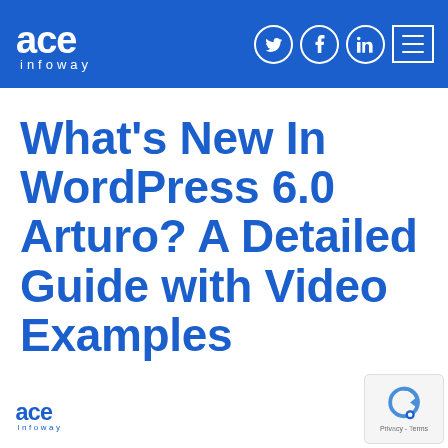ace infoway – navigation header with social icons (Twitter, Facebook, LinkedIn) and hamburger menu
What's New In WordPress 6.0 Arturo? A Detailed Guide with Video Examples
[Figure (logo): ace infoway logo in footer (small, blue)]
[Figure (other): Privacy/reCAPTCHA badge in bottom right corner]